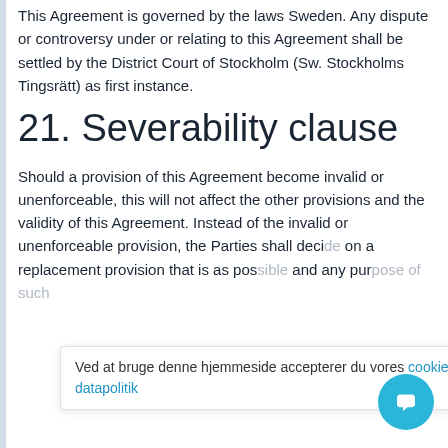This Agreement is governed by the laws Sweden. Any dispute or controversy under or relating to this Agreement shall be settled by the District Court of Stockholm (Sw. Stockholms Tingsrätt) as first instance.
21. Severability clause
Should a provision of this Agreement become invalid or unenforceable, this will not affect the other provisions and the validity of this Agreement. Instead of the invalid or unenforceable provision, the Parties shall decide on a replacement provision that is as possible and any purpose of such